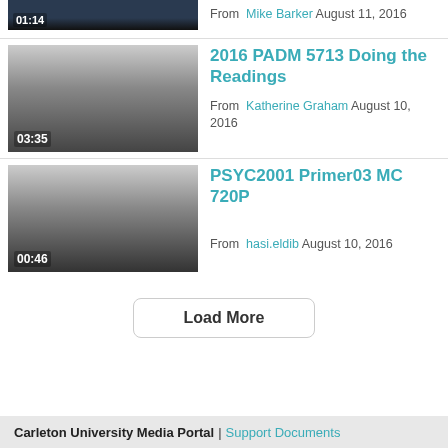[Figure (screenshot): Video thumbnail (dark, partial) with timecode 01:14]
From Mike Barker August 11, 2016
[Figure (screenshot): Video thumbnail (gray gradient) with timecode 03:35]
2016 PADM 5713 Doing the Readings
From Katherine Graham August 10, 2016
[Figure (screenshot): Video thumbnail (gray gradient) with timecode 00:46]
PSYC2001 Primer03 MC 720P
From hasi.eldib August 10, 2016
Load More
Carleton University Media Portal | Support Documents